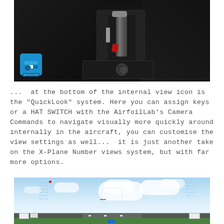[Figure (screenshot): Cockpit interior view of a flight simulator showing throttle controls and center console in dark lighting, with a QuickLook icon (blue UI element) visible in the lower-left corner of the image.]
...  at the bottom of the internal view icon is the "QuickLook" system. Here you can assign keys or a HAT SWITCH with the AirfoilLab's Camera Commands to navigate visually more quickly around internally in the aircraft, you can customise the view settings as well...  it is just another take on the X-Plane Number views system, but with far more options.
[Figure (screenshot): External flight simulator view showing a blue sky with clouds and an airport ground scene below, with HUD/overlay text panels visible on the left and right sides of the screen.]